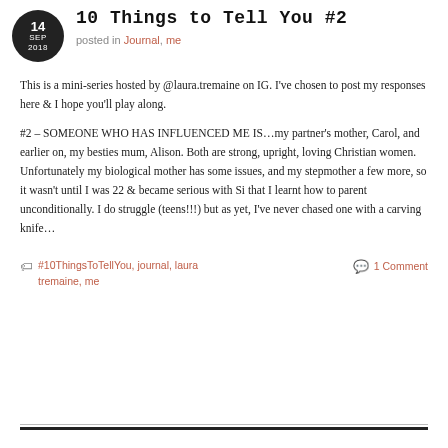10 Things to Tell You #2
posted in Journal, me
This is a mini-series hosted by @laura.tremaine on IG. I've chosen to post my responses here & I hope you'll play along.
#2 – SOMEONE WHO HAS INFLUENCED ME IS…my partner's mother, Carol, and earlier on, my besties mum, Alison. Both are strong, upright, loving Christian women. Unfortunately my biological mother has some issues, and my stepmother a few more, so it wasn't until I was 22 & became serious with Si that I learnt how to parent unconditionally. I do struggle (teens!!!) but as yet, I've never chased one with a carving knife…
#10ThingsToTellYou, journal, laura tremaine, me
1 Comment